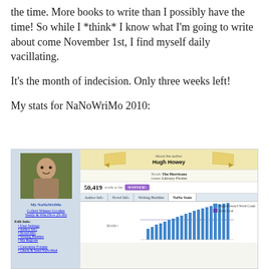the time. More books to write than I possibly have the time! So while I *think* I know what I'm going to write about come November 1st, I find myself daily vacillating.
It's the month of indecision. Only three weeks left!
My stats for NaNoWriMo 2010:
[Figure (screenshot): Screenshot of NaNoWriMo 2010 profile page for Hugh Howey. Shows author photo, navigation links, novel info for 'The Hurricane' (Literary Fiction), word count of 50,419 with a WINNER badge, tabs for Author Info / Novel Info / Writing Buddies / NaNo Stats, and a partial word count bar chart with legend showing Hugh Howey's Word Count and Daily Goal.]